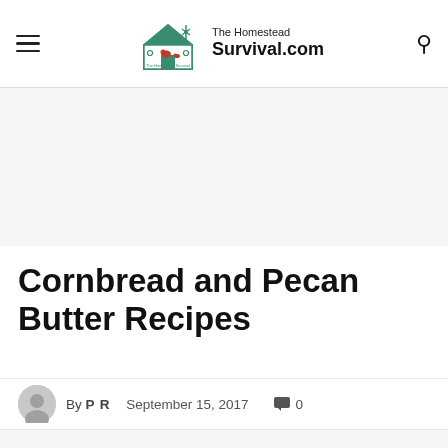The Homestead Survival.com
Cornbread and Pecan Butter Recipes
By P R   September 15, 2017   0